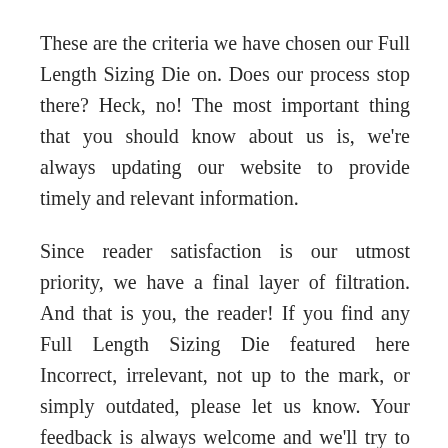These are the criteria we have chosen our Full Length Sizing Die on. Does our process stop there? Heck, no! The most important thing that you should know about us is, we're always updating our website to provide timely and relevant information.
Since reader satisfaction is our utmost priority, we have a final layer of filtration. And that is you, the reader! If you find any Full Length Sizing Die featured here Incorrect, irrelevant, not up to the mark, or simply outdated, please let us know. Your feedback is always welcome and we'll try to promptly correct our list as per your reasonable suggestion.